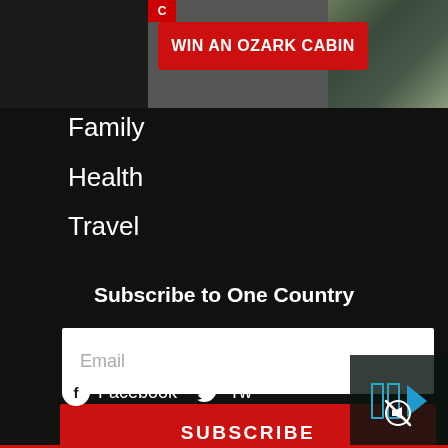[Figure (screenshot): Advertisement banner: WIN AN OZARK CABIN with red button on dark background, cabin photo on right]
Family
Health
Travel
Subscribe to One Country
Email
SUBSCRIBE
[Figure (screenshot): Video overlay with skip forward icon (two blue bars and a play triangle) on dark background]
Facebook
Tw
[Figure (other): Mute/unmute icon]